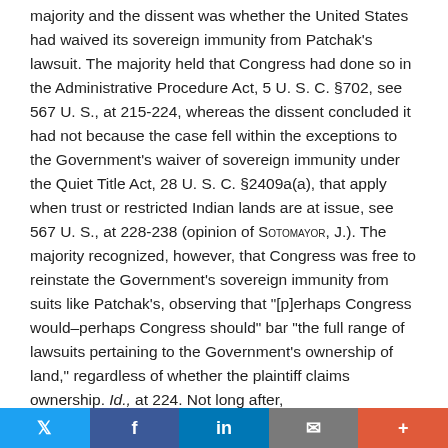majority and the dissent was whether the United States had waived its sovereign immunity from Patchak's lawsuit. The majority held that Congress had done so in the Administrative Procedure Act, 5 U. S. C. §702, see 567 U. S., at 215-224, whereas the dissent concluded it had not because the case fell within the exceptions to the Government's waiver of sovereign immunity under the Quiet Title Act, 28 U. S. C. §2409a(a), that apply when trust or restricted Indian lands are at issue, see 567 U. S., at 228-238 (opinion of SOTOMAYOR, J.). The majority recognized, however, that Congress was free to reinstate the Government's sovereign immunity from suits like Patchak's, observing that "[p]erhaps Congress would–perhaps Congress should" bar "the full range of lawsuits pertaining to the Government's ownership of land," regardless of whether the plaintiff claims ownership. Id., at 224. Not long after,
Twitter | Facebook | LinkedIn | Email | +